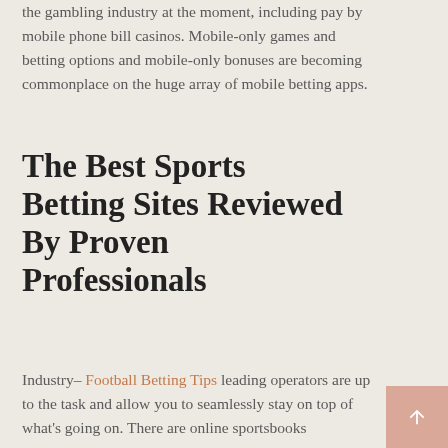the gambling industry at the moment, including pay by mobile phone bill casinos. Mobile-only games and betting options and mobile-only bonuses are becoming commonplace on the huge array of mobile betting apps.
The Best Sports Betting Sites Reviewed By Proven Professionals
Industry– Football Betting Tips leading operators are up to the task and allow you to seamlessly stay on top of what's going on. There are online sportsbooks